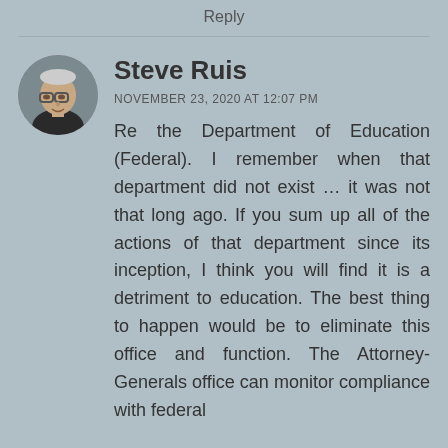Reply
[Figure (photo): Circular avatar photo of Steve Ruis, a bespectacled older man with short gray hair, wearing a dark shirt, against a light background.]
Steve Ruis
NOVEMBER 23, 2020 AT 12:07 PM
Re the Department of Education (Federal). I remember when that department did not exist … it was not that long ago. If you sum up all of the actions of that department since its inception, I think you will find it is a detriment to education. The best thing to happen would be to eliminate this office and function. The Attorney-Generals office can monitor compliance with federal